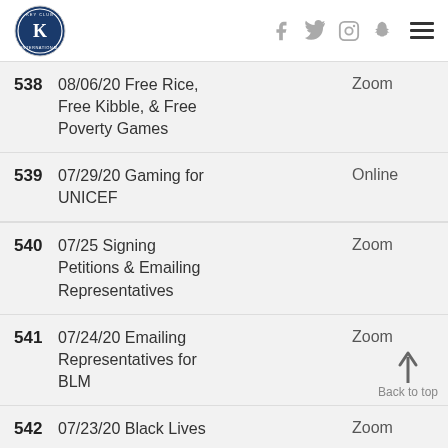Key Club International
538 08/06/20 Free Rice, Free Kibble, & Free Poverty Games Zoom
539 07/29/20 Gaming for UNICEF Online
540 07/25 Signing Petitions & Emailing Representatives Zoom
541 07/24/20 Emailing Representatives for BLM Zoom
542 07/23/20 Black Lives Zoom